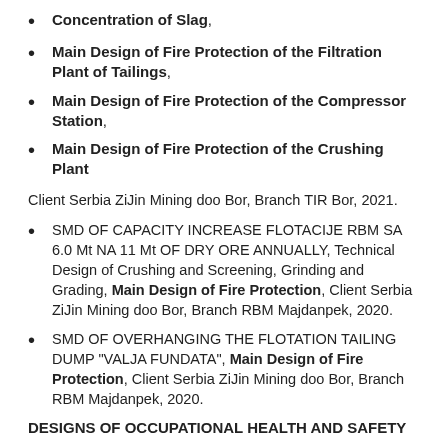Concentration of Slag,
Main Design of Fire Protection of the Filtration Plant of Tailings,
Main Design of Fire Protection of the Compressor Station,
Main Design of Fire Protection of the Crushing Plant
Client Serbia ZiJin Mining doo Bor, Branch TIR Bor, 2021.
SMD OF CAPACITY INCREASE FLOTACIJE RBM SA 6.0 Mt NA 11 Mt OF DRY ORE ANNUALLY, Technical Design of Crushing and Screening, Grinding and Grading, Main Design of Fire Protection, Client Serbia ZiJin Mining doo Bor, Branch RBM Majdanpek, 2020.
SMD OF OVERHANGING THE FLOTATION TAILING DUMP "VALJA FUNDATA", Main Design of Fire Protection, Client Serbia ZiJin Mining doo Bor, Branch RBM Majdanpek, 2020.
DESIGNS OF OCCUPATIONAL HEALTH AND SAFETY